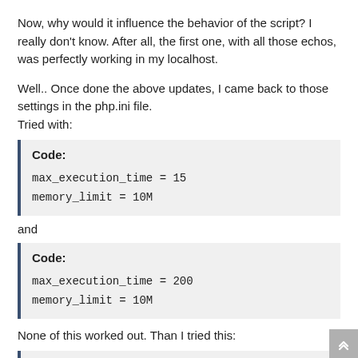Now, why would it influence the behavior of the script? I really don't know. After all, the first one, with all those echos, was perfectly working in my localhost.
Well.. Once done the above updates, I came back to those settings in the php.ini file.
Tried with:
Code:
max_execution_time = 15
memory_limit = 10M
and
Code:
max_execution_time = 200
memory_limit = 10M
None of this worked out. Than I tried this:
Code: